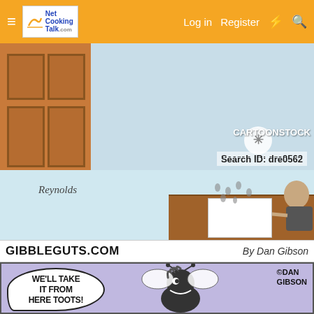Net Cooking Talk — Log in | Register
[Figure (illustration): CartoonStock cartoon showing a woman with a broom cleaning, with a man sitting at a desk. Watermark: CARTOONSTOCK, Search ID: dre0562. Signed Reynolds.]
GIBBLEGUTS.COM   By Dan Gibson
[Figure (illustration): Gibbleguts.com cartoon by Dan Gibson showing a character saying 'WE'LL TAKE IT FROM HERE TOOTS!' with bee-like characters. Copyright Dan Gibson.]